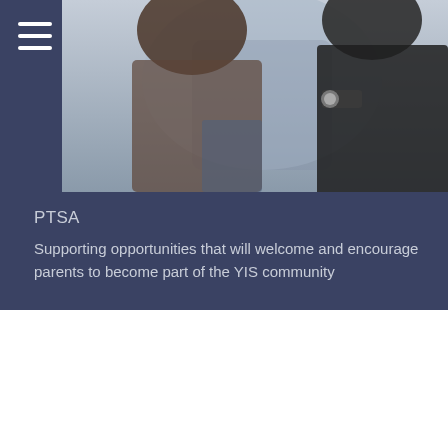[Figure (photo): Two people in the background, slightly out of focus. One person in a dark shirt with a watch visible, another in lighter clothing. Photo appears to be a candid school scene.]
PTSA
Supporting opportunities that will welcome and encourage parents to become part of the YIS community
Shop at Dragon Dining
Visit us in the Cafeteria school days from 7am - 4pm...